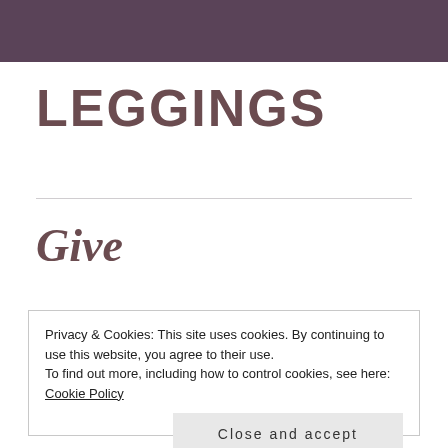LEGGINGS
Give
Privacy & Cookies: This site uses cookies. By continuing to use this website, you agree to their use.
To find out more, including how to control cookies, see here: Cookie Policy
Close and accept
— Winston Churchill